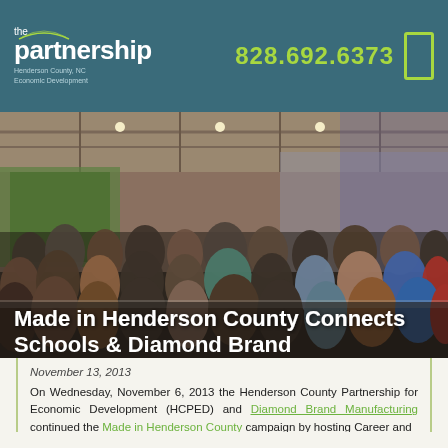the partnership | Henderson County, NC Economic Development | 828.692.6373
[Figure (photo): A large gathering of people seated in chairs inside an industrial manufacturing facility, viewed from behind. The space has high ceilings with metal structures and overhead lighting. Text overlay reads: Made in Henderson County Connects Schools & Diamond Brand]
Made in Henderson County Connects Schools & Diamond Brand
November 13, 2013
On Wednesday, November 6, 2013 the Henderson County Partnership for Economic Development (HCPED) and Diamond Brand Manufacturing continued the Made in Henderson County campaign by hosting Career and Technical Education (CTE) teachers associated with...